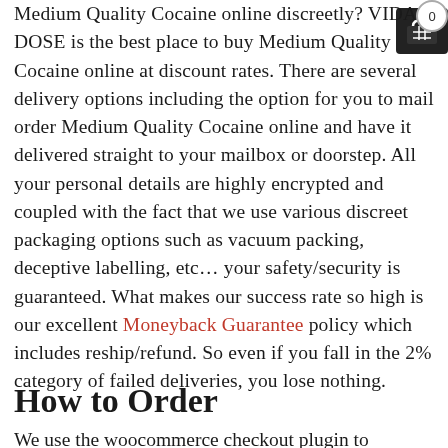Medium Quality Cocaine online discreetly? VIDA DOSE is the best place to buy Medium Quality Cocaine online at discount rates. There are several delivery options including the option for you to mail order Medium Quality Cocaine online and have it delivered straight to your mailbox or doorstep. All your personal details are highly encrypted and coupled with the fact that we use various discreet packaging options such as vacuum packing, deceptive labelling, etc… your safety/security is guaranteed. What makes our success rate so high is our excellent Moneyback Guarantee policy which includes reship/refund. So even if you fall in the 2% category of failed deliveries, you lose nothing.
How to Order
We use the woocommerce checkout plugin to